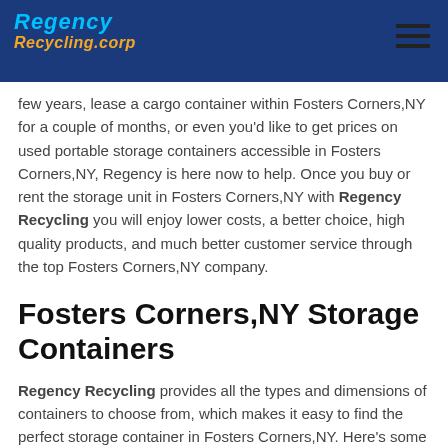Regency Recycling Corp
few years, lease a cargo container within Fosters Corners,NY for a couple of months, or even you'd like to get prices on used portable storage containers accessible in Fosters Corners,NY, Regency is here now to help. Once you buy or rent the storage unit in Fosters Corners,NY with Regency Recycling you will enjoy lower costs, a better choice, high quality products, and much better customer service through the top Fosters Corners,NY company.
Fosters Corners,NY Storage Containers
Regency Recycling provides all the types and dimensions of containers to choose from, which makes it easy to find the perfect storage container in Fosters Corners,NY. Here's some of the options available:
10-54’ Storage Containers
Cargo Containers